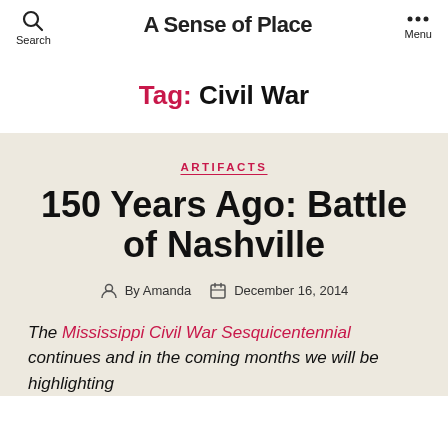A Sense of Place | Search | Menu
Tag: Civil War
ARTIFACTS
150 Years Ago: Battle of Nashville
By Amanda | December 16, 2014
The Mississippi Civil War Sesquicentennial continues and in the coming months we will be highlighting